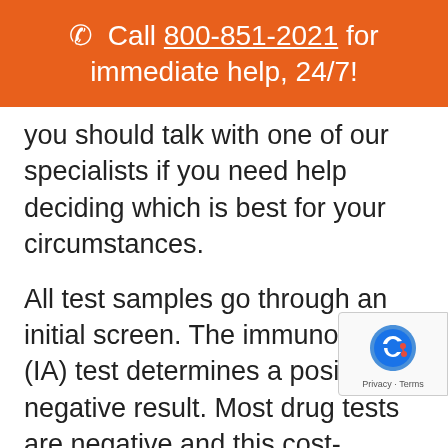📞 Call 800-851-2021 for immediate help, 24/7!
you should talk with one of our specialists if you need help deciding which is best for your circumstances.
All test samples go through an initial screen. The immunoassay (IA) test determines a positive or negative result. Most drug tests are negative and this cost-efficient test saves employers money because no further